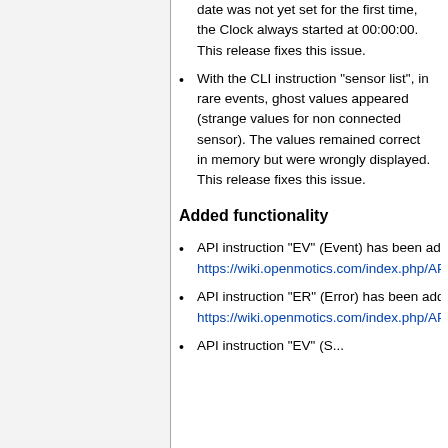date was not yet set for the first time, the Clock always started at 00:00:00. This release fixes this issue.
With the CLI instruction "sensor list", in rare events, ghost values appeared (strange values for non connected sensor). The values remained correct in memory but were wrongly displayed. This release fixes this issue.
Added functionality
API instruction "EV" (Event) has been added, see https://wiki.openmotics.com/index.php/API_Reference_Guide_AIO
API instruction "ER" (Error) has been added, see https://wiki.openmotics.com/index.php/API_Reference_Guide_AIO
API instruction "EV" (...